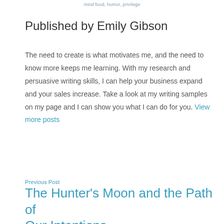mind food, humor, privilege
Published by Emily Gibson
The need to create is what motivates me, and the need to know more keeps me learning. With my research and persuasive writing skills, I can help your business expand and your sales increase. Take a look at my writing samples on my page and I can show you what I can do for you. View more posts
Previous Post
The Hunter's Moon and the Path of Our Intentions